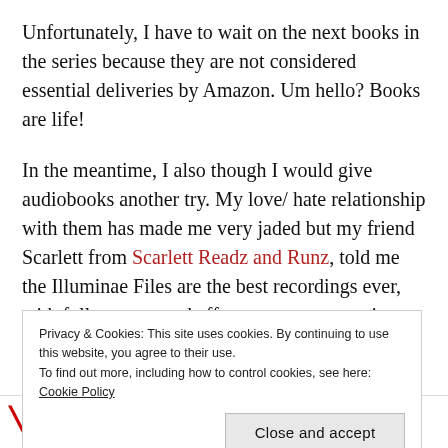Unfortunately, I have to wait on the next books in the series because they are not considered essential deliveries by Amazon. Um hello? Books are life!
In the meantime, I also though I would give audiobooks another try. My love/ hate relationship with them has made me very jaded but my friend Scarlett from Scarlett Readz and Runz, told me the Illuminae Files are the best recordings ever, with full casts, sound effects, etc…, so trusting her, I renewed Audible and gave it a
Privacy & Cookies: This site uses cookies. By continuing to use this website, you agree to their use.
To find out more, including how to control cookies, see here: Cookie Policy
Close and accept
[Figure (photo): Bottom strip showing partial book cover text reading 'THE ILLUMINAE FILE...' in bold uppercase letters with red decorative elements on each side]